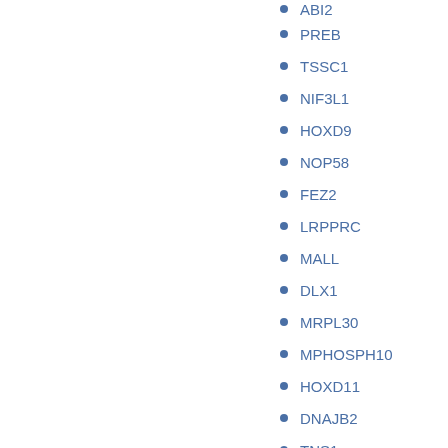ABI2
PREB
TSSC1
NIF3L1
HOXD9
NOP58
FEZ2
LRPPRC
MALL
DLX1
MRPL30
MPHOSPH10
HOXD11
DNAJB2
TNS1